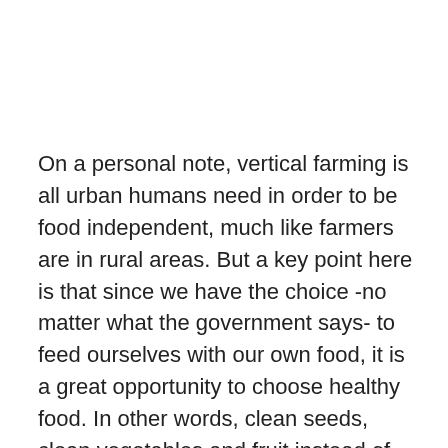On a personal note, vertical farming is all urban humans need in order to be food independent, much like farmers are in rural areas. But a key point here is that since we have the choice -no matter what the government says- to feed ourselves with our own food, it is a great opportunity to choose healthy food. In other words, clean seeds, clean vegetables and fruit instead of GMO seeds and GMO agricultural products. Depending on what your urgency for food is and where you are located, it is urgent that you go out and scout for clean, organic seeds before they are just a thing of the past. That's right. With a handful of companies pushing for bans on organic farming and food monopolies, it only makes sense to be food independent